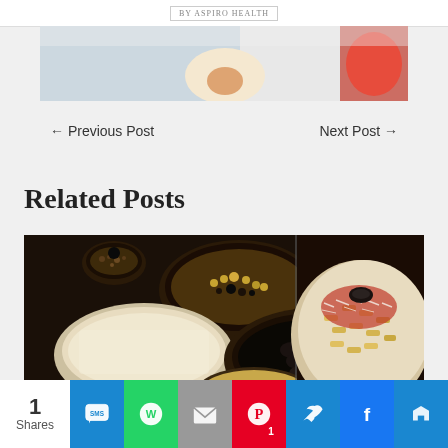BY ASPIRO HEALTH
[Figure (photo): Partial hero image showing food items including what appears to be a fried egg and strawberry on a light background]
← Previous Post    Next Post →
Related Posts
[Figure (photo): Split image showing two food photos: left side has bowls of various ingredients including grains and legumes on a dark background; right side shows a bowl of pasta with tomato sauce and grated cheese]
1 Shares